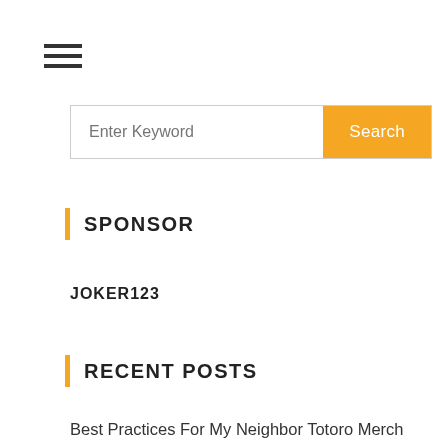[Figure (other): Hamburger menu icon (three horizontal lines)]
[Figure (other): Search bar with text input placeholder 'Enter Keyword' and orange 'Search' button]
SPONSOR
JOKER123
RECENT POSTS
Best Practices For My Neighbor Totoro Merch
The future of Online Poker